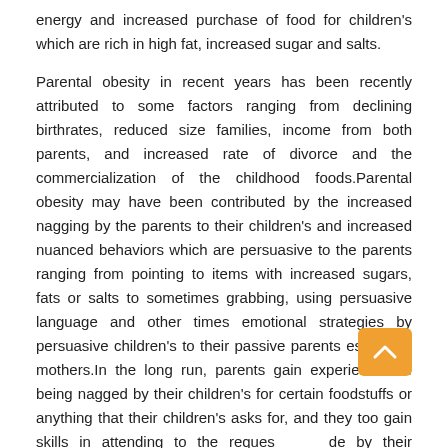energy and increased purchase of food for children's which are rich in high fat, increased sugar and salts.
Parental obesity in recent years has been recently attributed to some factors ranging from declining birthrates, reduced size families, income from both parents, and increased rate of divorce and the commercialization of the childhood foods.Parental obesity may have been contributed by the increased nagging by the parents to their children's and increased nuanced behaviors which are persuasive to the parents ranging from pointing to items with increased sugars, fats or salts to sometimes grabbing, using persuasive language and other times emotional strategies by persuasive children's to their passive parents especially mothers.In the long run, parents gain experiences of being nagged by their children's for certain foodstuffs or anything that their children's asks for, and they too gain skills in attending to the requests made by their children's in order to meet their goals.
Parents sometimes in a practical sense influences the buying and